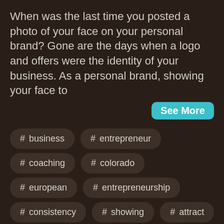When was the last time you posted a photo of your face on your personal brand? Gone are the days when a logo and offers were the identity of your business. As a personal brand, showing your face to
See More
# business
# entrepreneur
# coaching
# colorado
# european
# entrepreneurship
# consistency
# showing
# attract
# personal growth
# freelance
# spiritual growth